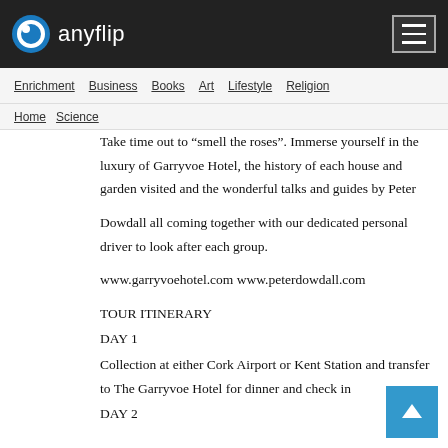anyflip
Enrichment  Business  Books  Art  Lifestyle  Religion
Home  Science
Take time out to “smell the roses”. Immerse yourself in the luxury of Garryvoe Hotel, the history of each house and garden visited and the wonderful talks and guides by Peter
Dowdall all coming together with our dedicated personal driver to look after each group.
www.garryvoehotel.com www.peterdowdall.com
TOUR ITINERARY
DAY 1
Collection at either Cork Airport or Kent Station and transfer to The Garryvoe Hotel for dinner and check in
DAY 2